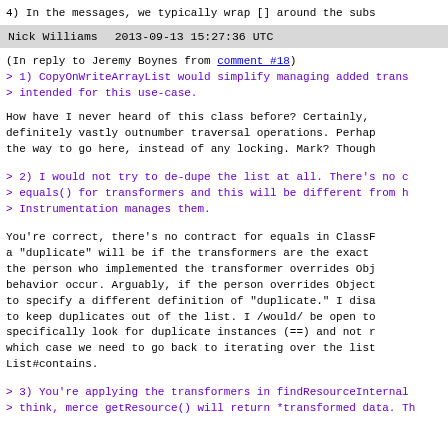4) In the messages, we typically wrap [] around the subs
Nick Williams   2013-09-13 15:27:36 UTC
(In reply to Jeremy Boynes from comment #18)
> 1) CopyOnWriteArrayList would simplify managing added trans
> intended for this use-case.
How have I never heard of this class before? Certainly,
definitely vastly outnumber traversal operations. Perhap
the way to go here, instead of any locking. Mark? Though
> 2) I would not try to de-dupe the list at all. There's no c
> equals() for transformers and this will be different from h
> Instrumentation manages them.
You're correct, there's no contract for equals in ClassF
a "duplicate" will be if the transformers are the exact
the person who implemented the transformer overrides Obj
behavior occur. Arguably, if the person overrides Object
to specify a different definition of "duplicate." I disa
to keep duplicates out of the list. I /would/ be open to
specifically look for duplicate instances (==) and not r
which case we need to go back to iterating over the list
List#contains.
> 3) You're applying the transformers in findResourceInternal
> think, merce getResource() will return *transformed data. Th